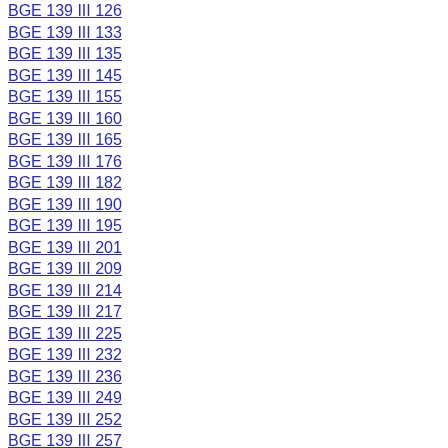BGE 139 III 126
BGE 139 III 133
BGE 139 III 135
BGE 139 III 145
BGE 139 III 155
BGE 139 III 160
BGE 139 III 165
BGE 139 III 176
BGE 139 III 182
BGE 139 III 190
BGE 139 III 195
BGE 139 III 201
BGE 139 III 209
BGE 139 III 214
BGE 139 III 217
BGE 139 III 225
BGE 139 III 232
BGE 139 III 236
BGE 139 III 249
BGE 139 III 252
BGE 139 III 257
BGE 139 III 263
BGE 139 III 273
BGE 139 III 278
BGE 139 III 285
BGE 139 III 288
BGE 139 III 293
BGE 139 III 297